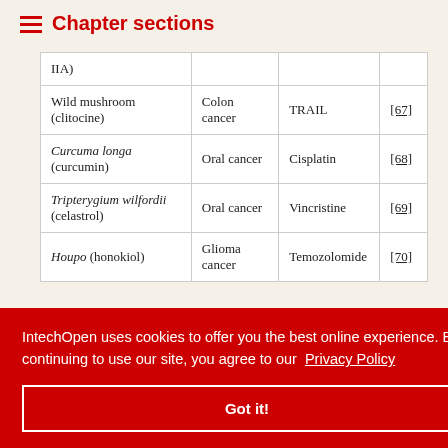Chapter sections
|  |  |  |  |
| --- | --- | --- | --- |
| IIA) |  |  |  |
| Wild mushroom (clitocine) | Colon cancer | TRAIL | [67] |
| Curcuma longa (curcumin) | Oral cancer | Cisplatin | [68] |
| Tripterygium wilfordii (celastrol) | Oral cancer | Vincristine | [69] |
| Houpo (honokiol) | Glioma cancer | Temozolomide | [70] |
resistance in
osis-inducing ligand.